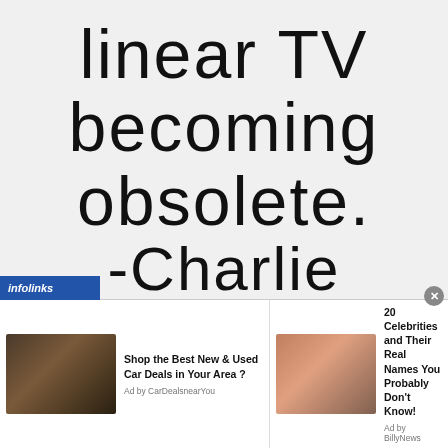linear TV becoming obsolete.
-Charlie
[Figure (screenshot): Infolinks advertisement bar with two ad items: 'Shop the Best New & Used Car Deals in Your Area?' by CarDealsnearYou, and '20 Celebrities and Their Real Names You Probably Don't Know!' by BillyNews]
infolinks
Shop the Best New & Used Car Deals in Your Area ?
Ad by CarDealsnearYou
20 Celebrities and Their Real Names You Probably Don't Know!
Ad by BillyNews